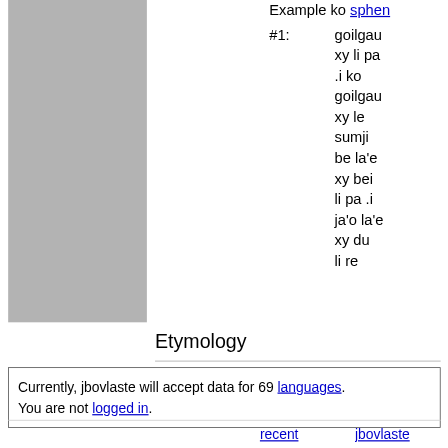[Figure (other): Gray rectangle placeholder image on the left side of the page]
Example ko sphen
#1:  goilgau xy li pa .i ko goilgau xy le sumji be la'e xy bei li pa .i ja'o la'e xy du li re
Etymology
Currently, jbovlaste will accept data for 69 languages.
You are not logged in.
recent changes    jbovlaste main
This is jbovlaste, the lojban dictionary system.